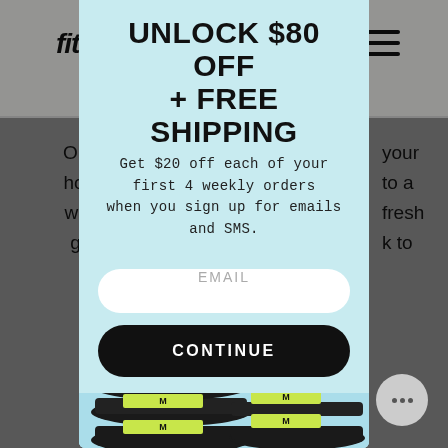[Figure (screenshot): Website popup modal on fitlit brand website offering $80 off and free shipping. Modal has light blue background with bold title 'UNLOCK $80 OFF + FREE SHIPPING', subtitle text, email input field, continue button, and product meal kit images at bottom.]
UNLOCK $80 OFF
+ FREE SHIPPING
Get $20 off each of your first 4 weekly orders when you sign up for emails and SMS.
EMAIL
CONTINUE